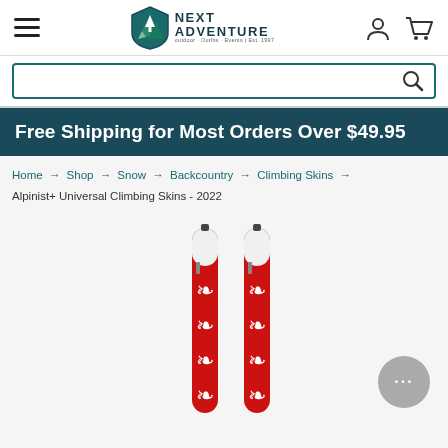[Figure (logo): Next Adventure outdoor retailer logo with shield icon containing a tree, mountains, and teal background. Text reads NEXT ADVENTURE with tagline below.]
Free Shipping for Most Orders Over $49.95
Home → Shop → Snow → Backcountry → Climbing Skins → Alpinist+ Universal Climbing Skins - 2022
[Figure (photo): Two red and white ski climbing skins (Alpinist+ Universal Climbing Skins 2022) standing upright, featuring white fleur-de-lis pattern on red background, with white tips at top.]